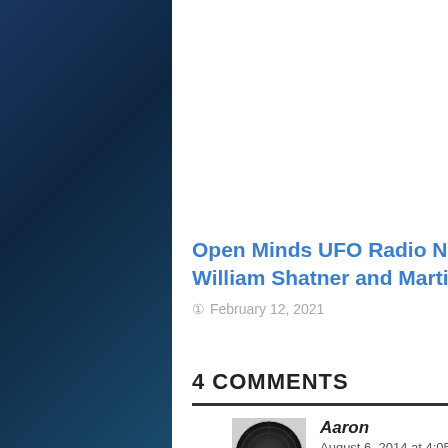[Figure (illustration): Open Minds UFO Radio banner with black background, speaker graphic on left, and NEWS LIVE text on right in white bold letters]
Open Minds UFO Radio Newscast – 2/12/2021 – Special Guests: William Shatner and Martin Willis
February 12, 2021
4 COMMENTS
Aaron
August 6, 2014 at 4:05 am
Why do so many UFO enthusiasts (who spend so much time filming) not invest in a stabilized tripod and camera that requires no touch to pan or zoom? For example, a GoPro 4K resolution (ultra